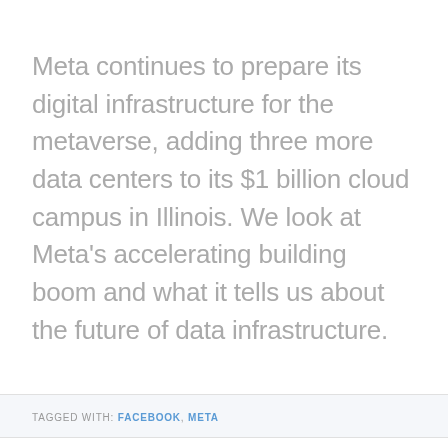Meta continues to prepare its digital infrastructure for the metaverse, adding three more data centers to its $1 billion cloud campus in Illinois. We look at Meta's accelerating building boom and what it tells us about the future of data infrastructure.
TAGGED WITH: FACEBOOK, META
Meta Is Building a Giant $800 Million Data Center in Idaho
BY RICH MILLER - FEBRUARY 16, 2022